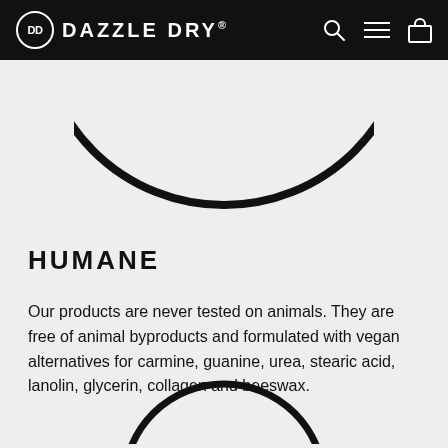DD DAZZLE DRY®
[Figure (illustration): Bottom arc of a large circular logo or product image, partially cropped at the top of the content area]
HUMANE
Our products are never tested on animals. They are free of animal byproducts and formulated with vegan alternatives for carmine, guanine, urea, stearic acid, lanolin, glycerin, collagen and beeswax.
[Figure (illustration): Top arc of a circular logo or product image, partially visible at the bottom of the page]